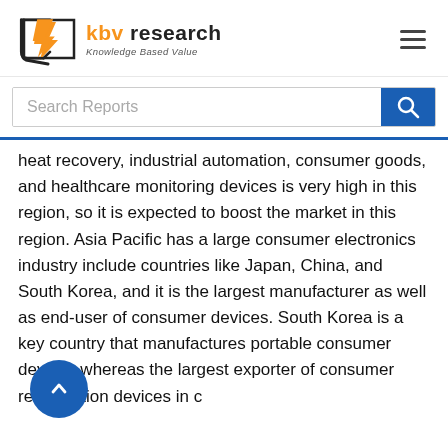KBV Research — Knowledge Based Value
Search Reports
heat recovery, industrial automation, consumer goods, and healthcare monitoring devices is very high in this region, so it is expected to boost the market in this region. Asia Pacific has a large consumer electronics industry include countries like Japan, China, and South Korea, and it is the largest manufacturer as well as end-user of consumer devices. South Korea is a key country that manufactures portable consumer devices whereas the largest exporter of consumer refrigeration devices in c...
The China market dominated the Asia Pacific Multi Stage Thermoelectric Modules Market by Country 2020,